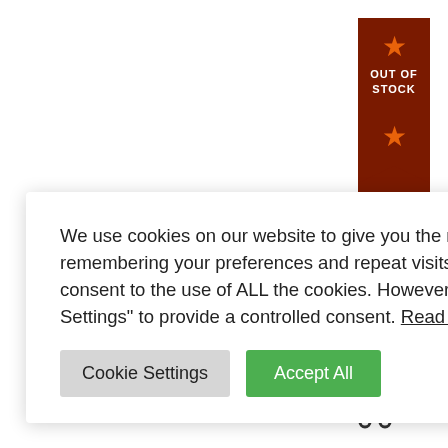[Figure (illustration): Out of Stock ribbon badge with orange stars, dark red background, rotated vertical text reading OUT OF STOCK]
We use cookies on our website to give you the most relevant experience by remembering your preferences and repeat visits. By clicking “Accept All”, you consent to the use of ALL the cookies. However, you may visit "Cookie Settings" to provide a controlled consent. Read More
Cookie Settings
Accept All
r Sensitive Skin